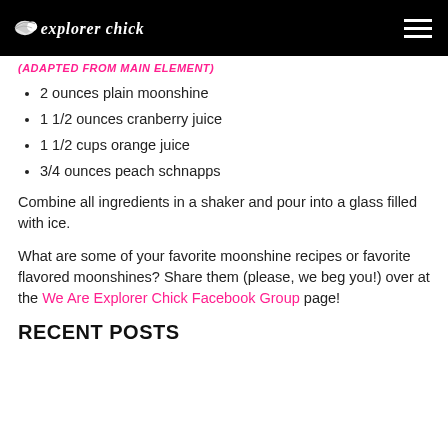Explorer Chick [logo + hamburger menu]
(ADAPTED FROM MAIN ELEMENT)
2 ounces plain moonshine
1 1/2 ounces cranberry juice
1 1/2 cups orange juice
3/4 ounces peach schnapps
Combine all ingredients in a shaker and pour into a glass filled with ice.
What are some of your favorite moonshine recipes or favorite flavored moonshines? Share them (please, we beg you!) over at the We Are Explorer Chick Facebook Group page!
RECENT POSTS